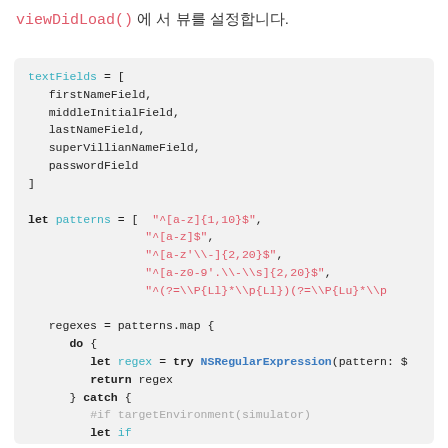viewDidLoad() 에 서 뷰를 설정합니다.
[Figure (screenshot): Code block showing Swift code with textFields array and patterns array with regex strings, followed by regexes = patterns.map closure with NSRegularExpression]